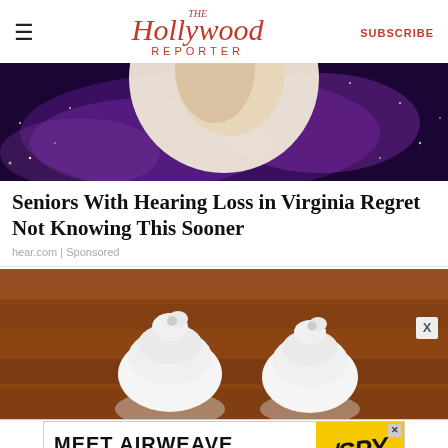The Hollywood Reporter | SUBSCRIBE
[Figure (photo): Close-up of a human ear against a purple galaxy/space background]
Seniors With Hearing Loss in Virginia Regret Not Knowing This Sooner
hear.com | Sponsored
[Figure (photo): Two white ceramic hearing aid molds on a wooden surface]
[Figure (photo): Advertisement banner: MEET AIRWEAVE MODULAR, WASHABLE MATTRESS with SPY logo]